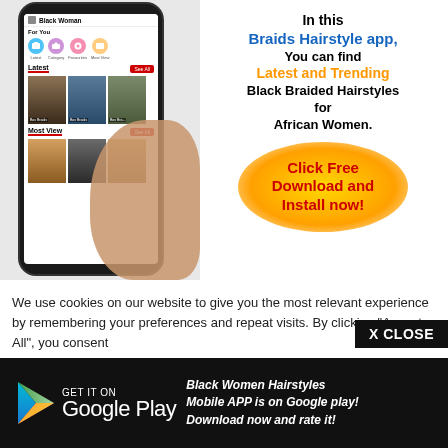[Figure (screenshot): Smartphone mockup showing a Braids Hairstyle app with sections: For You (Latest, Category, Favourites, Most View icons), Latest (See All button, box braids images), Most View (See All button, hairstyle images). Hand holding the phone visible.]
In this
Braids Hairstyle app,
You can find
Latest and Trending
Black Braided Hairstyles
for
African Women.
Click Free
Download and
Install now!
We use cookies on our website to give you the most relevant experience by remembering your preferences and repeat visits. By clicking "Accept All", you consent
X CLOSE
[Figure (logo): Google Play store badge on black background with triangular play icon]
GET IT ON
Google Play
Black Women Hairstyles Mobile APP is on Google play! Download now and rate it!